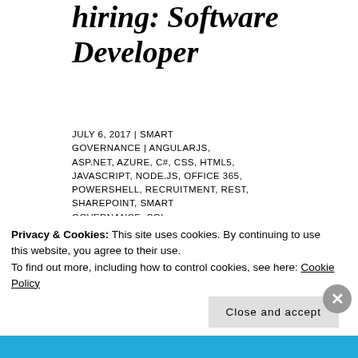hiring: Software Developer
JULY 6, 2017 | SMART GOVERNANCE | ANGULARJS, ASP.NET, AZURE, C#, CSS, HTML5, JAVASCRIPT, NODE.JS, OFFICE 365, POWERSHELL, RECRUITMENT, REST, SHAREPOINT, SMART GOVERNANCE, SQL
Smart Governance Software Developer/.NET
Privacy & Cookies: This site uses cookies. By continuing to use this website, you agree to their use.
To find out more, including how to control cookies, see here: Cookie Policy
Close and accept